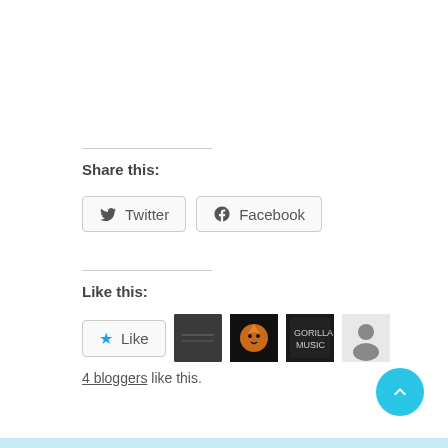Share this:
[Figure (screenshot): Twitter and Facebook share buttons with icons]
Like this:
[Figure (screenshot): Like button with star icon and 4 blogger avatar thumbnails]
4 bloggers like this.
[Figure (other): Scroll-to-top circular cyan button with upward chevron arrow]